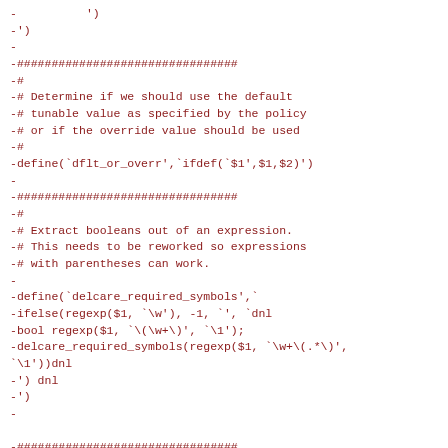- ')
-')
-
-################################
-#
-# Determine if we should use the default
-# tunable value as specified by the policy
-# or if the override value should be used
-#
-define(`dflt_or_overr',`ifdef(`$1',$1,$2)')
-
-################################
-#
-# Extract booleans out of an expression.
-# This needs to be reworked so expressions
-# with parentheses can work.
-
-define(`delcare_required_symbols',`
-ifelse(regexp($1, `\w'), -1, `', `dnl
-bool regexp($1, `\(\w+\)', `\1');
-delcare_required_symbols(regexp($1, `\w+\(.*\)',
`\1'))dnl
-') dnl
-')
-
-################################
-#
-# Tunable declaration
-#
-define(`gen_tunable',`